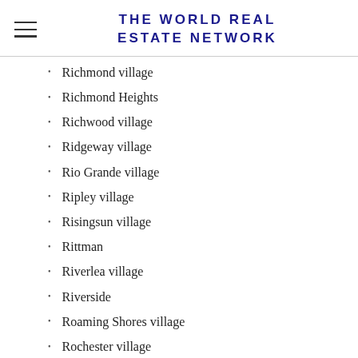THE WORLD REAL ESTATE NETWORK
Richmond village
Richmond Heights
Richwood village
Ridgeway village
Rio Grande village
Ripley village
Risingsun village
Rittman
Riverlea village
Riverside
Roaming Shores village
Rochester village
Rock Creek village
Rockford village
Rocky Ridge village